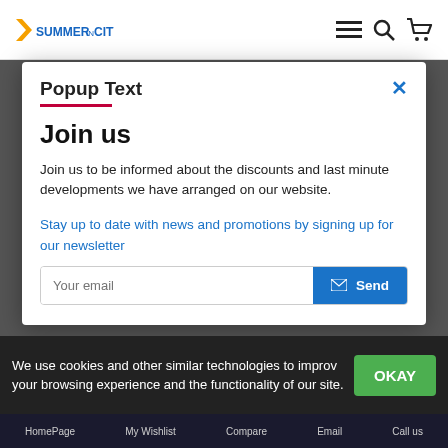SUMMER CITY [logo] | menu | search | cart
Popup Text
Join us
Join us to be informed about the discounts and last minute developments we have arranged on our website.
Stay up to date with news and promotions by signing up for our newsletter
Your email [Send button]
We use cookies and other similar technologies to improve your browsing experience and the functionality of our site.
HomePage | My Wishlist | Compare | Email | Call us